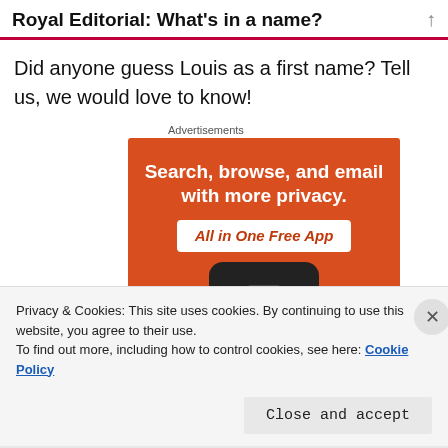Royal Editorial: What's in a name?
Did anyone guess Louis as a first name? Tell us, we would love to know!
Advertisements
[Figure (illustration): Orange advertisement banner with text 'Search, browse, and email with more privacy. All in One Free App' and a phone image at the bottom.]
Privacy & Cookies: This site uses cookies. By continuing to use this website, you agree to their use.
To find out more, including how to control cookies, see here: Cookie Policy